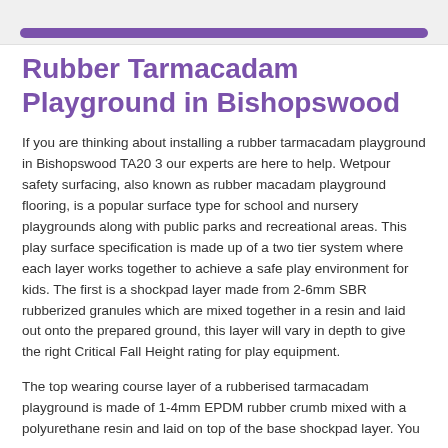[purple navigation bar]
Rubber Tarmacadam Playground in Bishopswood
If you are thinking about installing a rubber tarmacadam playground in Bishopswood TA20 3 our experts are here to help. Wetpour safety surfacing, also known as rubber macadam playground flooring, is a popular surface type for school and nursery playgrounds along with public parks and recreational areas. This play surface specification is made up of a two tier system where each layer works together to achieve a safe play environment for kids. The first is a shockpad layer made from 2-6mm SBR rubberized granules which are mixed together in a resin and laid out onto the prepared ground, this layer will vary in depth to give the right Critical Fall Height rating for play equipment.
The top wearing course layer of a rubberised tarmacadam playground is made of 1-4mm EPDM rubber crumb mixed with a polyurethane resin and laid on top of the base shockpad layer. You